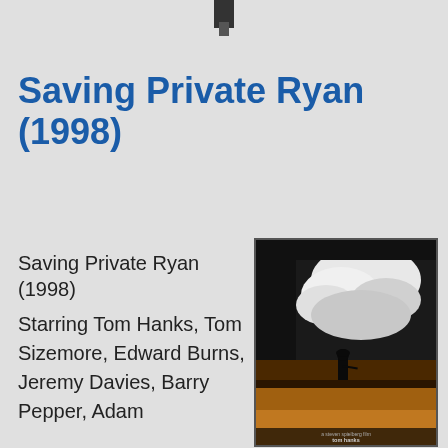[Figure (other): Small black square icon at top center of page]
Saving Private Ryan (1998)
Saving Private Ryan (1998)
Starring Tom Hanks, Tom Sizemore, Edward Burns, Jeremy Davies, Barry Pepper, Adam...
[Figure (photo): Movie poster for Saving Private Ryan (1998) showing a silhouetted soldier against a dramatic sky with clouds, and warm sunset tones at the bottom. Text reads 'a Steven Spielberg film', 'tom hanks', 'saving private ryan']